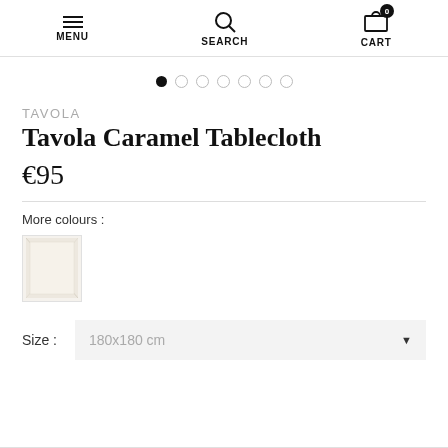MENU  SEARCH  CART
[Figure (other): Image carousel dot navigation: 7 dots, first filled black, rest empty circles]
TAVOLA
Tavola Caramel Tablecloth
€95
More colours :
[Figure (photo): Small thumbnail of a folded cream/white tablecloth fabric swatch]
Size :
180x180 cm